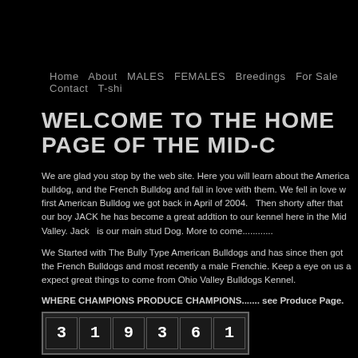Home  About  MALES FEMALES Breedings For Sale Contact  T-shi
WELCOME TO THE HOME PAGE OF THE MID-C
We are glad you stop by the web site. Here you will learn about the America bulldog, and the French Bulldog and fall in love with them. We fell in love w first American Bulldog we got back in April of 2004.  Then shorty after that our boy JACK he has become a great addtion to our kennel here in the Mid Valley. Jack  is our main stud Dog. More to come............
We Started with The Bully Type American Bulldogs and has since then got the French Bulldogs and most recently a male Frenchie. Keep a eye on us a expect great things to come from Ohio Valley Bulldogs Kennel.
WHERE CHAMPIONS PRODUCE CHAMPIONS....... see Produce Page.
[Figure (other): Website visit counter showing the number 319361]
Any questions or comments can be emailed to me. If you live in the area a have an American Bulldog I would like to here from you.